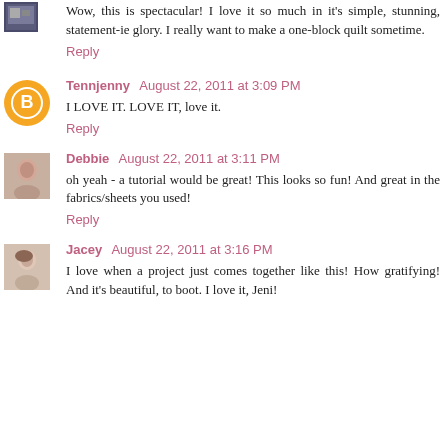Wow, this is spectacular! I love it so much in it's simple, stunning, statement-ie glory. I really want to make a one-block quilt sometime.
Reply
Tennjenny  August 22, 2011 at 3:09 PM
I LOVE IT. LOVE IT, love it.
Reply
Debbie  August 22, 2011 at 3:11 PM
oh yeah - a tutorial would be great! This looks so fun! And great in the fabrics/sheets you used!
Reply
Jacey  August 22, 2011 at 3:16 PM
I love when a project just comes together like this! How gratifying! And it's beautiful, to boot. I love it, Jeni!